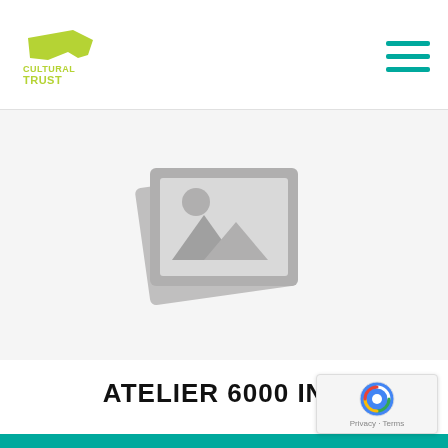Oregon Cultural Trust
[Figure (illustration): Generic image placeholder icon showing stacked photo frames with mountain and sun silhouette, in gray color]
ATELIER 6000 INC
A center for printmaking and book arts, A6 cultivates art appreciation, enhances learning through art, and expands creative expression. Founded in 2007, A6 is Central Oregon's only publicly-accessible...